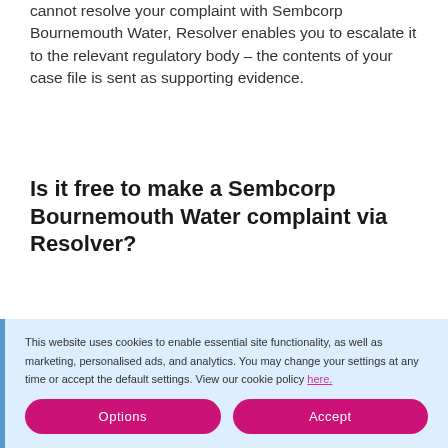cannot resolve your complaint with Sembcorp Bournemouth Water, Resolver enables you to escalate it to the relevant regulatory body – the contents of your case file is sent as supporting evidence.
Is it free to make a Sembcorp Bournemouth Water complaint via Resolver?
Absolutely. Making any complaint via Resolver will never involve any costs for you, the consumer, other than the cost of any phone calls you make (at the cost of...
This website uses cookies to enable essential site functionality, as well as marketing, personalised ads, and analytics. You may change your settings at any time or accept the default settings. View our cookie policy here.